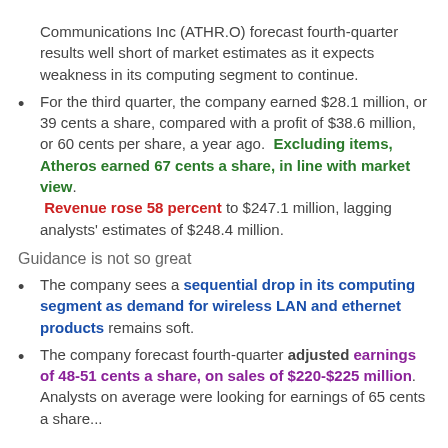Communications Inc (ATHR.O) forecast fourth-quarter results well short of market estimates as it expects weakness in its computing segment to continue.
For the third quarter, the company earned $28.1 million, or 39 cents a share, compared with a profit of $38.6 million, or 60 cents per share, a year ago. Excluding items, Atheros earned 67 cents a share, in line with market view. Revenue rose 58 percent to $247.1 million, lagging analysts' estimates of $248.4 million.
Guidance is not so great
The company sees a sequential drop in its computing segment as demand for wireless LAN and ethernet products remains soft.
The company forecast fourth-quarter adjusted earnings of 48-51 cents a share, on sales of $220-$225 million. Analysts on average were looking for earnings of 65 cents a share...